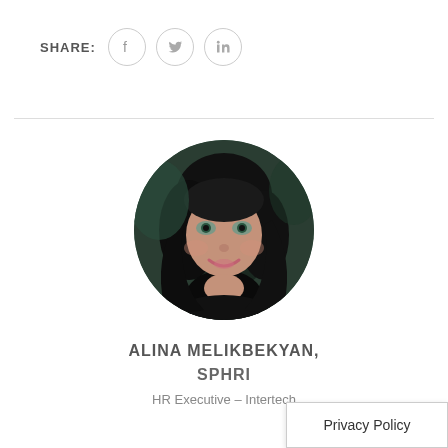SHARE:
[Figure (illustration): Social share icons: Facebook, Twitter, LinkedIn in circular outlines]
[Figure (photo): Circular profile photo of Alina Melikbekyan, a woman with dark hair smiling, against a dark background]
ALINA MELIKBEKYAN, SPHRI
HR Executive – Intertech
Privacy Policy